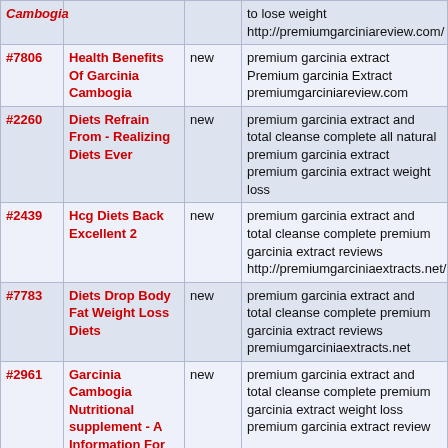| # | Title | Status | Description |
| --- | --- | --- | --- |
| (Cambogia) | (title cut) | new | to lose weight http://premiumgarciniareview.com/ |
| #7806 | Health Benefits Of Garcinia Cambogia | new | premium garcinia extract Premium garcinia Extract premiumgarciniareview.com |
| #2260 | Diets Refrain From - Realizing Diets Ever | new | premium garcinia extract and total cleanse complete all natural premium garcinia extract premium garcinia extract weight loss |
| #2439 | Hcg Diets Back Excellent 2 | new | premium garcinia extract and total cleanse complete premium garcinia extract reviews http://premiumgarciniaextracts.net/ |
| #7783 | Diets Drop Body Fat Weight Loss Diets | new | premium garcinia extract and total cleanse complete premium garcinia extract reviews premiumgarciniaextracts.net |
| #2961 | Garcinia Cambogia Nutritional supplement - A Information For The People | new | premium garcinia extract and total cleanse complete premium garcinia extract weight loss premium garcinia extract review |
| #3360 | Dieting Humor - New Diets | new | premium garcinia extract weight loss premium garcinia extract supplement premium garcinia extract supplement |
| #7190 | Top Four Celebrity Diets | new | premium garcinia extract weight loss premium garcinia extract weight loss |